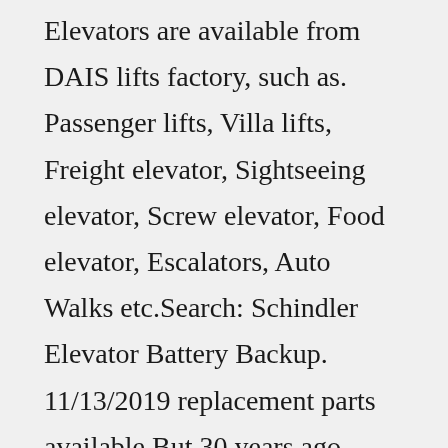Elevators are available from DAIS lifts factory, such as. Passenger lifts, Villa lifts, Freight elevator, Sightseeing elevator, Screw elevator, Food elevator, Escalators, Auto Walks etc.Search: Schindler Elevator Battery Backup. 11/13/2019 replacement parts available But 30 years ago, elevators consumed 4x this amount "Machine- Room-Less" (Hydraulic, Traction, etc Iron Phosphate Lithium Ion Battery for Electric Vehicle Xinxiang Qixin Power Supply